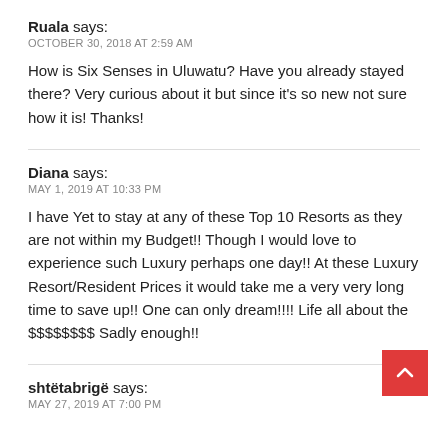Ruala says:
OCTOBER 30, 2018 AT 2:59 AM
How is Six Senses in Uluwatu? Have you already stayed there? Very curious about it but since it's so new not sure how it is! Thanks!
Diana says:
MAY 1, 2019 AT 10:33 PM
I have Yet to stay at any of these Top 10 Resorts as they are not within my Budget!! Though I would love to experience such Luxury perhaps one day!! At these Luxury Resort/Resident Prices it would take me a very very long time to save up!! One can only dream!!!! Life all about the $$$$$$$$ Sadly enough!!
shtëtabrigë says:
MAY 27, 2019 AT 7:00 PM